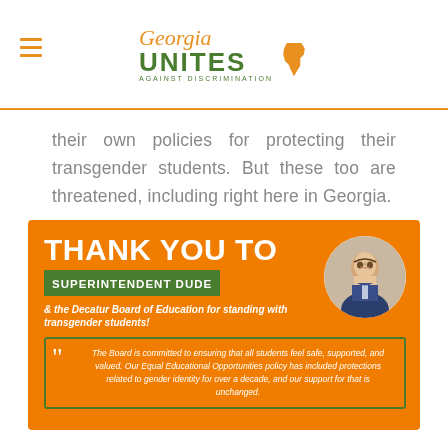Georgia UNITES Against Discrimination
their own policies for protecting their transgender students. But these too are threatened, including right here in Georgia.
[Figure (infographic): Orange card reading THANK YOU TO SUPERINTENDENT DUDE & the Decatur Board of Education for standing with transgender students! with a quote from the Board about equal educational opportunities and gender identity protections, and a circular portrait photo of a man in a suit.]